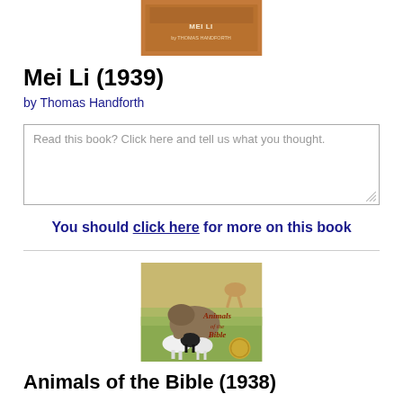[Figure (photo): Book cover of Mei Li (1939) by Thomas Handforth, brown/orange colored cover partially visible at top]
Mei Li (1939)
by Thomas Handforth
Read this book? Click here and tell us what you thought.
You should click here for more on this book
[Figure (photo): Book cover of Animals of the Bible (1938), illustrated cover showing various animals including bears, goats, and deer in a natural setting]
Animals of the Bible (1938)